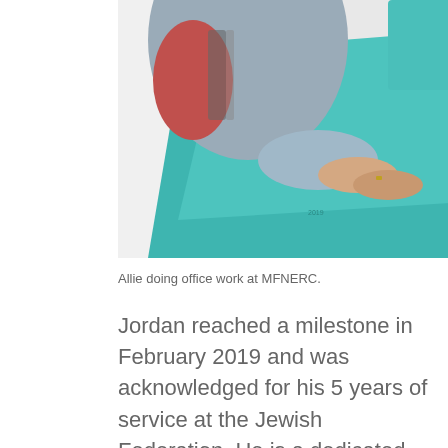[Figure (photo): A person doing office work, placing hands on teal/turquoise folders on a table at MFNERC.]
Allie doing office work at MFNERC.
Jordan reached a milestone in February 2019 and was acknowledged for his 5 years of service at the Jewish Federation. He is a dedicated and loyal employee who offers valuable assistance to the team on a daily basis including: data entry, event planning activities, confidential shredding and